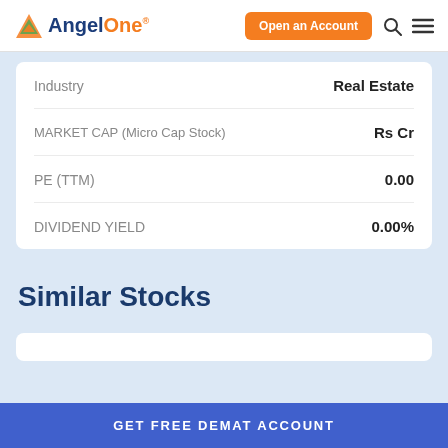AngelOne — Open an Account
| Label | Value |
| --- | --- |
| Industry | Real Estate |
| MARKET CAP (Micro Cap Stock) | Rs Cr |
| PE (TTM) | 0.00 |
| DIVIDEND YIELD | 0.00% |
Similar Stocks
GET FREE DEMAT ACCOUNT